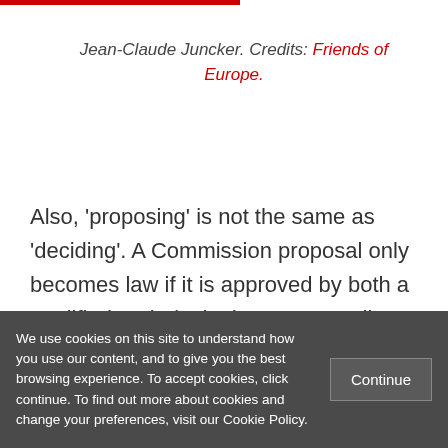Jean-Claude Juncker. Credits: Friends of Europe.
Also, 'proposing' is not the same as 'deciding'. A Commission proposal only becomes law if it is approved by both a qualified-majority in the EU Council (unanimity in many sensitive areas) and a
We use cookies on this site to understand how you use our content, and to give you the best browsing experience. To accept cookies, click continue. To find out more about cookies and change your preferences, visit our Cookie Policy.